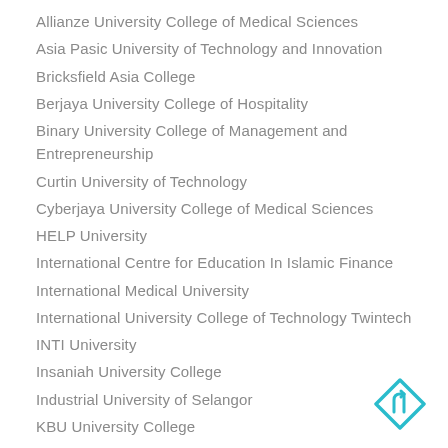Allianze University College of Medical Sciences
Asia Pasic University of Technology and Innovation
Bricksfield Asia College
Berjaya University College of Hospitality
Binary University College of Management and Entrepreneurship
Curtin University of Technology
Cyberjaya University College of Medical Sciences
HELP University
International Centre for Education In Islamic Finance
International Medical University
International University College of Technology Twintech
INTI University
Insaniah University College
Industrial University of Selangor
KBU University College
KDU University College
Kuala Lumpur Metro Politian University
Infrastructure University Kuala Lumpur
[Figure (logo): Navigation/direction road sign icon in teal/cyan color, diamond shape with a right-turn arrow inside]